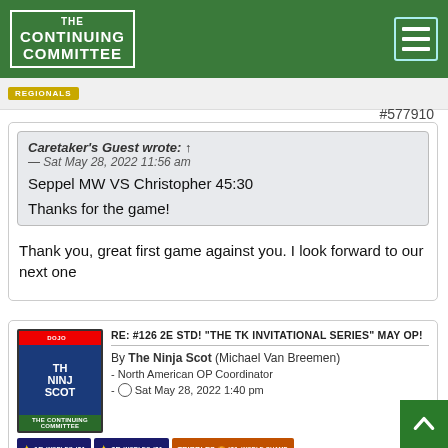THE CONTINUING COMMITTEE
[Figure (logo): Regionals badge/banner image]
#577910
Caretaker's Guest wrote: ↑
— Sat May 28, 2022 11:56 am
Seppel MW VS Christopher 45:30

Thanks for the game!
Thank you, great first game against you. I look forward to our next one
RE: #126 2E STD! "THE TK INVITATIONAL SERIES" MAY OP!
By The Ninja Scot (Michael Van Breemen)
- North American OP Coordinator
- Sat May 28, 2022 1:40 pm
#577912
Gorgo and I will be playing Tuesday at 5 pm Pacific/8 pm Eastern.